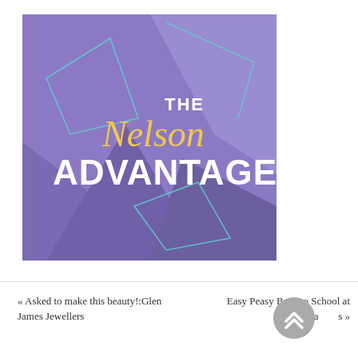[Figure (logo): The Nelson Advantage logo — purple/violet geometric abstract background with overlapping polygon shapes and teal outline shapes. Text shows 'THE Nelson ADVANTAGE' where 'Nelson' is in yellow cursive script and 'THE' and 'ADVANTAGE' are in white bold sans-serif.]
« Asked to make this beauty!:Glen James Jewellers
Easy Peasy Back to School at Pa[rtners] »